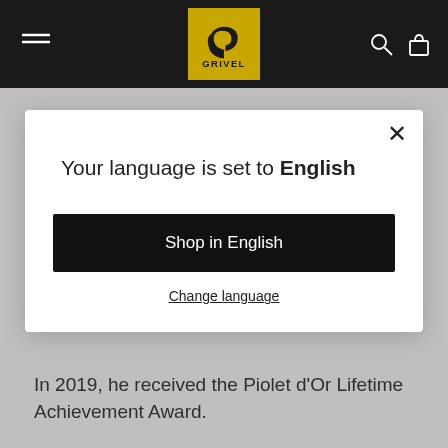[Figure (logo): Grivel brand logo — yellow/gold square with a stylized G-bird icon in black and GRIVEL text below, set in a dark navigation header bar with hamburger menu on left and search/cart icons on right]
Your language is set to English
Shop in English
Change language
In 2019, he received the Piolet d'Or Lifetime Achievement Award.